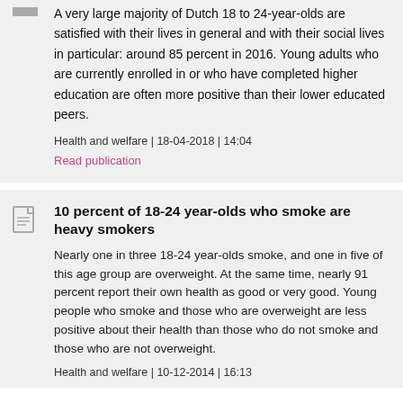A very large majority of Dutch 18 to 24-year-olds are satisfied with their lives in general and with their social lives in particular: around 85 percent in 2016. Young adults who are currently enrolled in or who have completed higher education are often more positive than their lower educated peers.
Health and welfare | 18-04-2018 | 14:04
Read publication
10 percent of 18-24 year-olds who smoke are heavy smokers
Nearly one in three 18-24 year-olds smoke, and one in five of this age group are overweight. At the same time, nearly 91 percent report their own health as good or very good. Young people who smoke and those who are overweight are less positive about their health than those who do not smoke and those who are not overweight.
Health and welfare | 10-12-2014 | 16:13